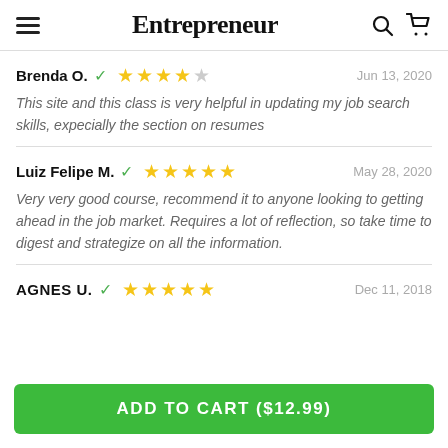Entrepreneur
Brenda O. ✓ ★★★★☆ Jun 13, 2020 — This site and this class is very helpful in updating my job search skills, expecially the section on resumes
Luiz Felipe M. ✓ ★★★★★ May 28, 2020 — Very very good course, recommend it to anyone looking to getting ahead in the job market. Requires a lot of reflection, so take time to digest and strategize on all the information.
AGNES U. ✓ ★★★★★ Dec 11, 2018
ADD TO CART ($12.99)